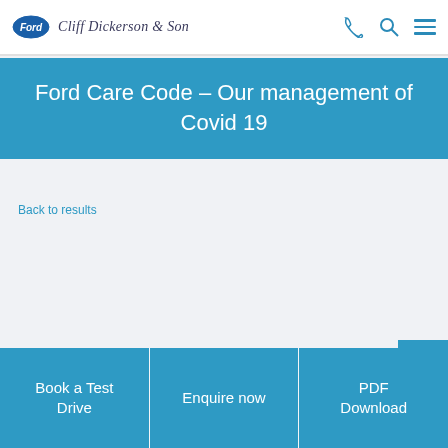Cliff Dickerson & Son
Ford Care Code – Our management of Covid 19
Back to results
Book a Test Drive | Enquire now | PDF Download